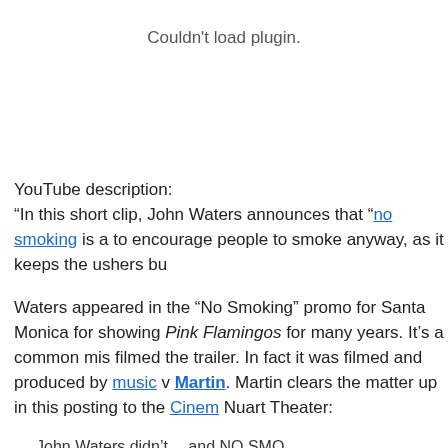Couldn't load plugin.
YouTube description:
“In this short clip, John Waters announces that “no smoking is a [policy] to encourage people to smoke anyway, as it keeps the ushers bu[sy”]
Waters appeared in the “No Smoking” promo for Santa Monica [theater] for showing Pink Flamingos for many years. It’s a common mis[conception he] filmed the trailer. In fact it was filmed and produced by music v[ideo director] Martin. Martin clears the matter up in this posting to the Cinem[a] Nuart Theater:
John Waters didn’t... and NO SMO[KING]